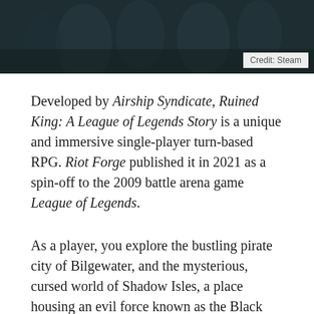[Figure (photo): Dark screenshot or promotional image from Ruined King game showing shadowy figures, credited to Steam]
Credit: Steam
Developed by Airship Syndicate, Ruined King: A League of Legends Story is a unique and immersive single-player turn-based RPG. Riot Forge published it in 2021 as a spin-off to the 2009 battle arena game League of Legends.
As a player, you explore the bustling pirate city of Bilgewater, and the mysterious, cursed world of Shadow Isles, a place housing an evil force known as the Black Mist. Your goal is to guide a group of six on a journey to uncover the secrets of the Black Mist.